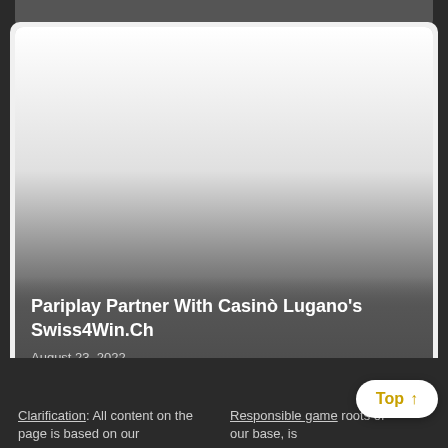[Figure (photo): Card with image area showing gradient from white to dark gray, with text overlay at bottom]
Pariplay Partner With Casinò Lugano's Swiss4Win.Ch
August 23, 2022
Clarification: All content on the page is based on our
Responsible game roots of our base, is